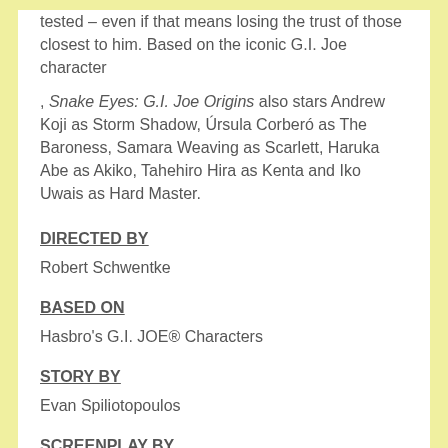tested – even if that means losing the trust of those closest to him. Based on the iconic G.I. Joe character , Snake Eyes: G.I. Joe Origins also stars Andrew Koji as Storm Shadow, Úrsula Corberó as The Baroness, Samara Weaving as Scarlett, Haruka Abe as Akiko, Tahehiro Hira as Kenta and Iko Uwais as Hard Master.
DIRECTED BY
Robert Schwentke
BASED ON
Hasbro's G.I. JOE® Characters
STORY BY
Evan Spiliotopoulos
SCREENPLAY BY
Evan Spiliotopoulos and Anna Waterhouse & Joe